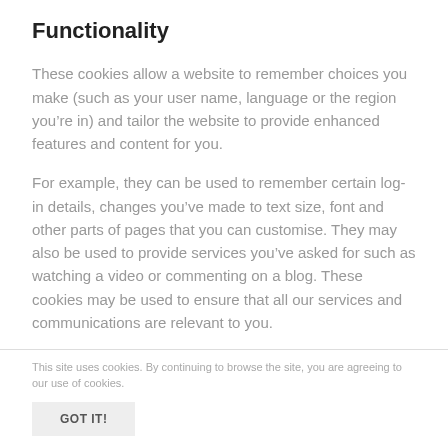Functionality
These cookies allow a website to remember choices you make (such as your user name, language or the region you’re in) and tailor the website to provide enhanced features and content for you.
For example, they can be used to remember certain log-in details, changes you’ve made to text size, font and other parts of pages that you can customise. They may also be used to provide services you’ve asked for such as watching a video or commenting on a blog. These cookies may be used to ensure that all our services and communications are relevant to you.
This site uses cookies. By continuing to browse the site, you are agreeing to our use of cookies.
GOT IT!